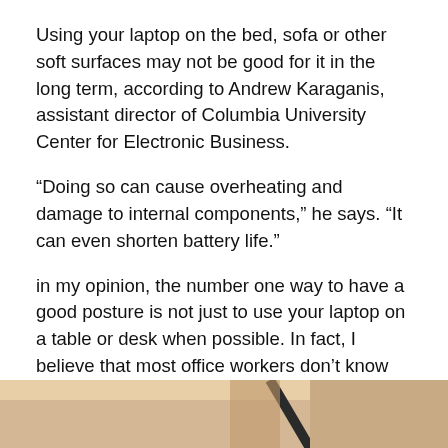Using your laptop on the bed, sofa or other soft surfaces may not be good for it in the long term, according to Andrew Karaganis, assistant director of Columbia University Center for Electronic Business.
“Doing so can cause overheating and damage to internal components,” he says. “It can even shorten battery life.”
in my opinion, the number one way to have a good posture is not just to use your laptop on a table or desk when possible. In fact, I believe that most office workers don’t know how to sit on their chair properly.
What’s the proof? Well, you only need to look at the statistics of back related problems – it is the leading cause for absences at work, and it is one of the top reasons people go to see physiotherapists.
[Figure (photo): Bottom portion of a photo showing a laptop on a light-colored surface, partially visible at the bottom of the page.]